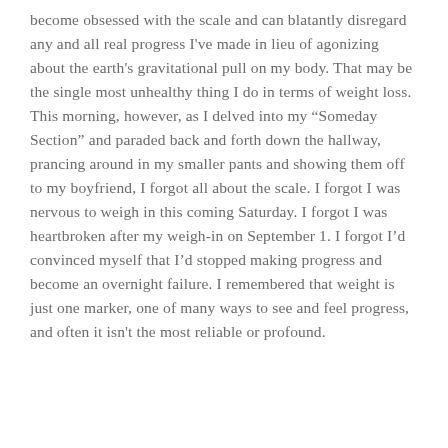become obsessed with the scale and can blatantly disregard any and all real progress I've made in lieu of agonizing about the earth's gravitational pull on my body. That may be the single most unhealthy thing I do in terms of weight loss. This morning, however, as I delved into my “Someday Section” and paraded back and forth down the hallway, prancing around in my smaller pants and showing them off to my boyfriend, I forgot all about the scale. I forgot I was nervous to weigh in this coming Saturday. I forgot I was heartbroken after my weigh-in on September 1. I forgot I’d convinced myself that I’d stopped making progress and become an overnight failure. I remembered that weight is just one marker, one of many ways to see and feel progress, and often it isn't the most reliable or profound.